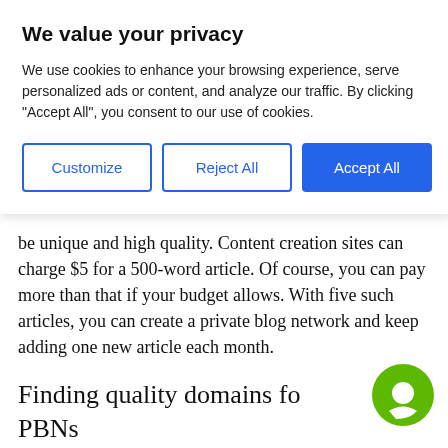We value your privacy
We use cookies to enhance your browsing experience, serve personalized ads or content, and analyze our traffic. By clicking "Accept All", you consent to our use of cookies.
be unique and high quality. Content creation sites can charge $5 for a 500-word article. Of course, you can pay more than that if your budget allows. With five such articles, you can create a private blog network and keep adding one new article each month.
Finding quality domains for PBNs